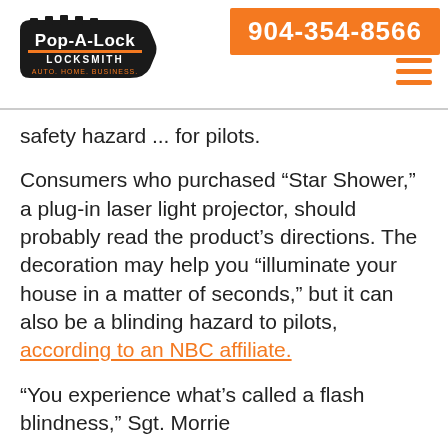[Figure (logo): Pop-A-Lock Locksmith logo with key shape and tagline 'Auto. Home. Business.']
904-354-8566
safety hazard ... for pilots.
Consumers who purchased “Star Shower,” a plug-in laser light projector, should probably read the product’s directions. The decoration may help you “illuminate your house in a matter of seconds,” but it can also be a blinding hazard to pilots, according to an NBC affiliate.
“You experience what’s called a flash blindness,” Sgt. Morrie